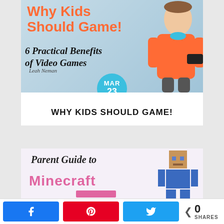[Figure (illustration): Blog post card image showing a boy in an orange jacket holding a game controller, with text 'Why Kids Should Game! 6 Practical Benefits of Video Games' and a signature 'Leah Neman'. A teal circular date badge shows MAR 23.]
WHY KIDS SHOULD GAME!
[Figure (illustration): Blog post card image showing 'Parent Guide to Minecraft' text with a Minecraft Steve character figure on the right side.]
0 SHARES